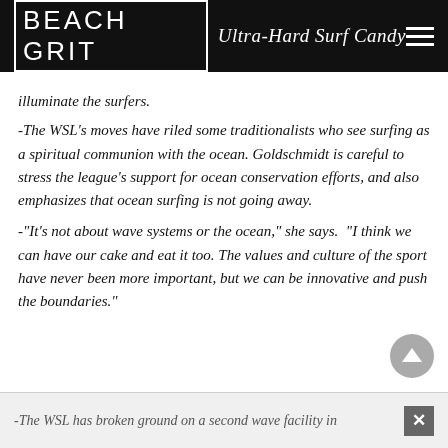BEACH GRIT Ultra-Hard Surf Candy
illuminate the surfers.
-The WSL's moves have riled some traditionalists who see surfing as a spiritual communion with the ocean. Goldschmidt is careful to stress the league's support for ocean conservation efforts, and also emphasizes that ocean surfing is not going away.
-“It’s not about wave systems or the ocean,” she says. “I think we can have our cake and eat it too. The values and culture of the sport have never been more important, but we can be innovative and push the boundaries.”
-The WSL has broken ground on a second wave facility in